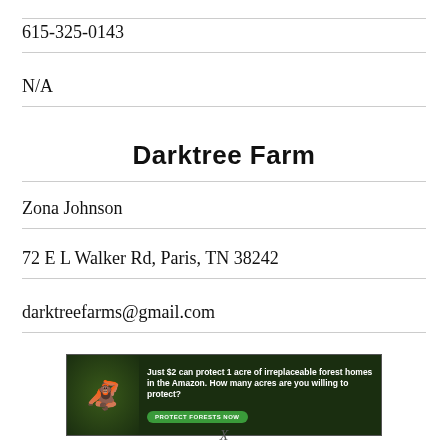615-325-0143
N/A
Darktree Farm
Zona Johnson
72 E L Walker Rd, Paris, TN 38242
darktreefarms@gmail.com
[Figure (infographic): Advertisement banner: dark forest background with animal image on left. Text reads 'Just $2 can protect 1 acre of irreplaceable forest homes in the Amazon. How many acres are you willing to protect?' with green 'PROTECT FORESTS NOW' button.]